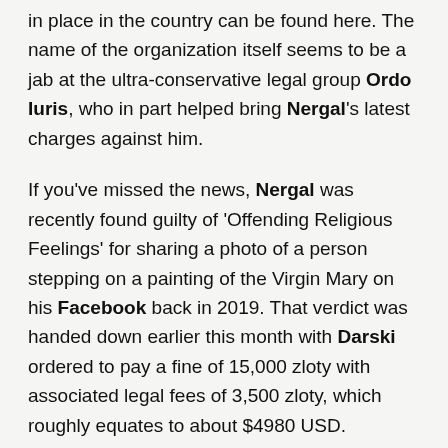in place in the country can be found here. The name of the organization itself seems to be a jab at the ultra-conservative legal group Ordo Iuris, who in part helped bring Nergal's latest charges against him.
If you've missed the news, Nergal was recently found guilty of 'Offending Religious Feelings' for sharing a photo of a person stepping on a painting of the Virgin Mary on his Facebook back in 2019. That verdict was handed down earlier this month with Darski ordered to pay a fine of 15,000 zloty with associated legal fees of 3,500 zloty, which roughly equates to about $4980 USD.
He has however refused to plead guilty and contested the charge, which will now see the case proceed to trial. Nergal has faced several similar charges over the years,